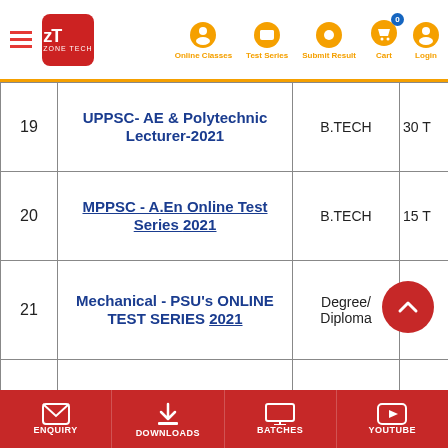Zone Tech — Online Classes, Test Series, Submit Result, Cart, Login
| # | Course Name | Qualification | Tests |
| --- | --- | --- | --- |
| 19 | UPPSC- AE & Polytechnic Lecturer-2021 | B.TECH | 30 T |
| 20 | MPPSC - A.En Online Test Series 2021 | B.TECH | 15 T |
| 21 | Mechanical - PSU's ONLINE TEST SERIES 2021 | Degree/ Diploma | 15 T |
| 22 | SSC - JE 2021 Subject wise Test Series | Degree/ Diploma | 30 T |
| 23 | SSC - JE 2021 Full Syllabus Test Series | Degree/ Diploma | 10 T |
| 24 | SSC - JE 2021 Subject wise + |  | 40 T |
ENQUIRY | DOWNLOADS | BATCHES | YOUTUBE